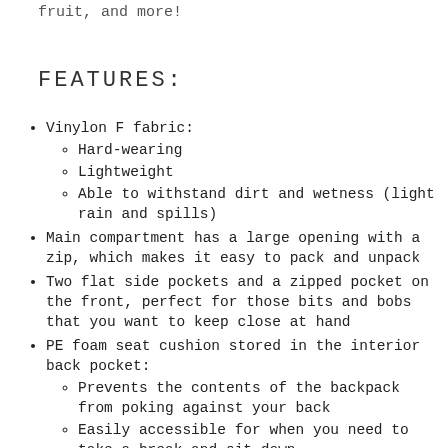fruit, and more!
FEATURES:
Vinylon F fabric:
Hard-wearing
Lightweight
Able to withstand dirt and wetness (light rain and spills)
Main compartment has a large opening with a zip, which makes it easy to pack and unpack
Two flat side pockets and a zipped pocket on the front, perfect for those bits and bobs that you want to keep close at hand
PE foam seat cushion stored in the interior back pocket:
Prevents the contents of the backpack from poking against your back
Easily accessible for when you need to take a break and sit down
Slender, adjustable shoulder straps: can be fastened with a clasp so they're not in the way when they're at their tightest
Handles at top with zapper closure: